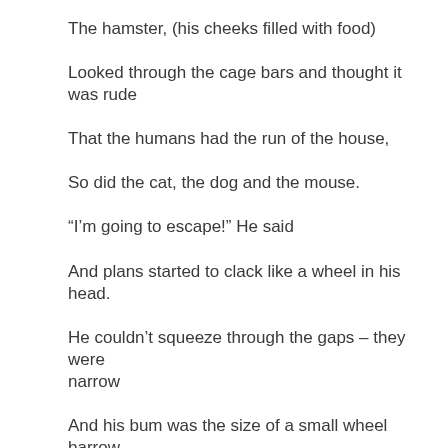The hamster, (his cheeks filled with food)
Looked through the cage bars and thought it was rude
That the humans had the run of the house,
So did the cat, the dog and the mouse.
“I’m going to escape!” He said
And plans started to clack like a wheel in his head.
He couldn’t squeeze through the gaps – they were narrow
And his bum was the size of a small wheel barrow.